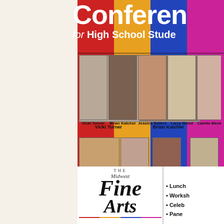Conference for High School Students
[Figure (photo): Headshot photo of Vicki Turner]
Vicki Turner
[Figure (photo): Headshot photo of Brian Katcher]
Brian Katcher
[Figure (photo): Headshot photo of Jessica Sellers]
Jessica Sellers
[Figure (photo): Headshot photo of Larry Wood]
Larry Wood
[Figure (photo): Partial headshot photo of Camile Meeker-]
Camile Meeker-
[Figure (photo): Headshot photo of Kimberly Smoak]
Kimberly Smoak
[Figure (photo): Headshot photo of Carry DeGruson]
Carry DeGruson
[Figure (photo): Headshot photo of Trenten Henderson]
Trenten Henderson
[Figure (photo): Headshot photo of Douglas Weaver]
Douglas Weaver
[Figure (logo): The Midwest Fine Arts logo with colored bars]
Lunch
Workshops
Celebr...
Pane...